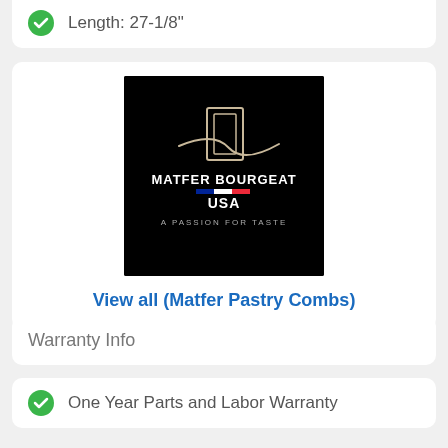Length: 27-1/8"
[Figure (logo): Matfer Bourgeat USA logo on black background with text: MATFER BOURGEAT USA A PASSION FOR TASTE]
View all (Matfer Pastry Combs)
Warranty Info
One Year Parts and Labor Warranty